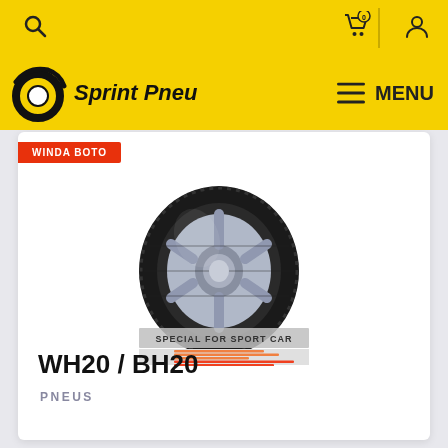Sprint Pneu — MENU
[Figure (photo): Winda tire product image for WH20 / BH20, a sport car tire shown at an angle with chrome rim detail, labeled SPECIAL FOR SPORT CAR, with performance rating bars below.]
WH20 / BH20
PNEUS